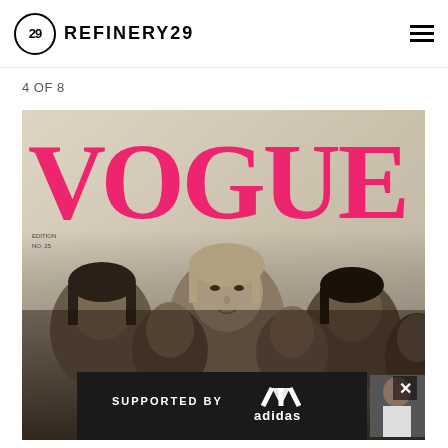REFINERY29
4 OF 8
[Figure (photo): Vogue magazine cover showing the word VOGUE in large pink letters with multiple models in black and white photograph below, with a supported by adidas advertisement banner at the bottom]